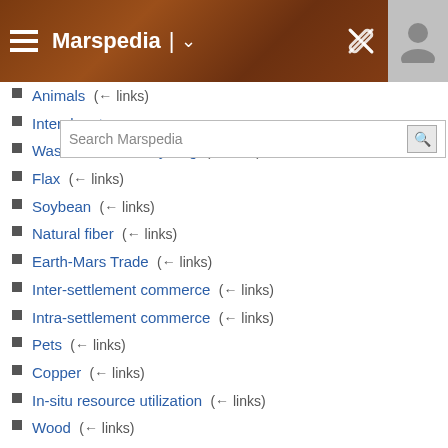Marspedia
Animals  (← links)
Interplanetary commerce  (← links)
Waste biomass recycling  (← links)
Flax  (← links)
Soybean  (← links)
Natural fiber  (← links)
Earth-Mars Trade  (← links)
Inter-settlement commerce  (← links)
Intra-settlement commerce  (← links)
Pets  (← links)
Copper  (← links)
In-situ resource utilization  (← links)
Wood  (← links)
Lava tube  (← links)
Radioisotope Thermoelectric Generator  (← links)
Atomic battery  (← links)
Autonomous planetary settlement  (← links)
TV rights  (← links)